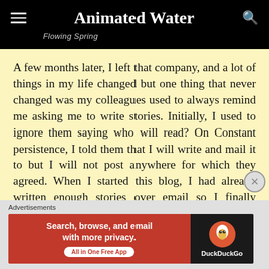Animated Water
Flowing Spring
A few months later, I left that company, and a lot of things in my life changed but one thing that never changed was my colleagues used to always remind me asking me to write stories. Initially, I used to ignore them saying who will read? On Constant persistence, I told them that I will write and mail it to but I will not post anywhere for which they agreed. When I started this blog, I had already written enough stories over email so I finally mustered enough confidence to put my writing skills to test and created a blog also to write stories
Advertisements
[Figure (screenshot): DuckDuckGo advertisement banner: orange/red background on left with text 'Search, browse, and email with more privacy. All in One Free App' and DuckDuckGo logo on dark right panel]